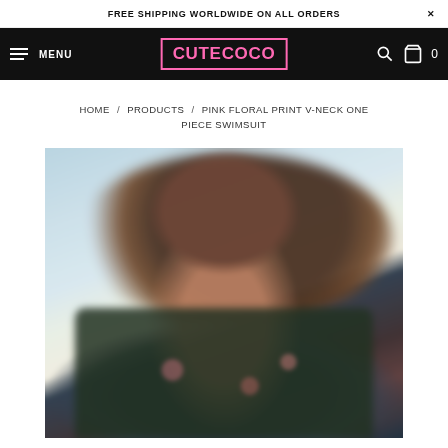FREE SHIPPING WORLDWIDE ON ALL ORDERS
MENU | CUTECOCO | Search | Cart 0
HOME / PRODUCTS / PINK FLORAL PRINT V-NECK ONE PIECE SWIMSUIT
[Figure (photo): A woman with long brown curly hair wearing a dark floral print V-neck one-piece swimsuit, photographed outdoors at a beach with a blurred background.]